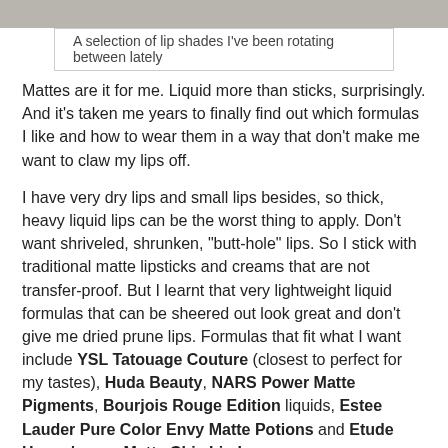[Figure (photo): A selection of lip shades arranged together — top portion of image visible]
A selection of lip shades I've been rotating between lately
Mattes are it for me. Liquid more than sticks, surprisingly. And it's taken me years to finally find out which formulas I like and how to wear them in a way that don't make me want to claw my lips off.
I have very dry lips and small lips besides, so thick, heavy liquid lips can be the worst thing to apply. Don't want shriveled, shrunken, "butt-hole" lips. So I stick with traditional matte lipsticks and creams that are not transfer-proof. But I learnt that very lightweight liquid formulas that can be sheered out look great and don't give me dried prune lips. Formulas that fit what I want include YSL Tatouage Couture (closest to perfect for my tastes), Huda Beauty, NARS Power Matte Pigments, Bourjois Rouge Edition liquids, Estee Lauder Pure Color Envy Matte Potions and Etude House's new Matte Chic Lip Lacquers.
I have found these to not crack after drying, and if you're light-handed, don't look excessively wrinkly.